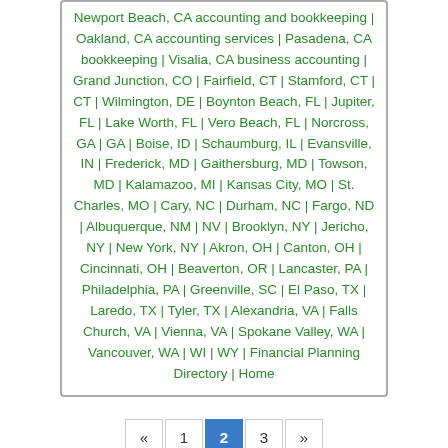Newport Beach, CA accounting and bookkeeping | Oakland, CA accounting services | Pasadena, CA bookkeeping | Visalia, CA business accounting | Grand Junction, CO | Fairfield, CT | Stamford, CT | CT | Wilmington, DE | Boynton Beach, FL | Jupiter, FL | Lake Worth, FL | Vero Beach, FL | Norcross, GA | GA | Boise, ID | Schaumburg, IL | Evansville, IN | Frederick, MD | Gaithersburg, MD | Towson, MD | Kalamazoo, MI | Kansas City, MO | St. Charles, MO | Cary, NC | Durham, NC | Fargo, ND | Albuquerque, NM | NV | Brooklyn, NY | Jericho, NY | New York, NY | Akron, OH | Canton, OH | Cincinnati, OH | Beaverton, OR | Lancaster, PA | Philadelphia, PA | Greenville, SC | El Paso, TX | Laredo, TX | Tyler, TX | Alexandria, VA | Falls Church, VA | Vienna, VA | Spokane Valley, WA | Vancouver, WA | WI | WY | Financial Planning Directory | Home
« 1 2 3 »